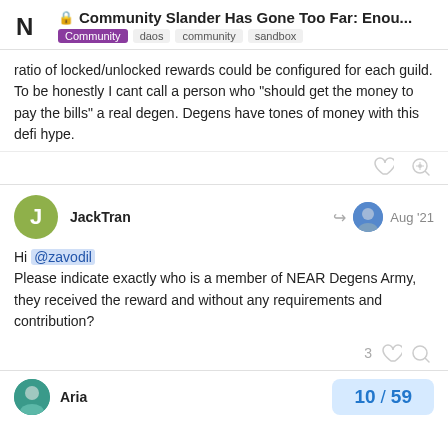Community Slander Has Gone Too Far: Enou... | Community daos community sandbox
ratio of locked/unlocked rewards could be configured for each guild. To be honestly I cant call a person who “should get the money to pay the bills” a real degen. Degens have tones of money with this defi hype.
JackTran | Aug '21
Hi @zavodil
Please indicate exactly who is a member of NEAR Degens Army, they received the reward and without any requirements and contribution?
3
Aria | 10 / 59